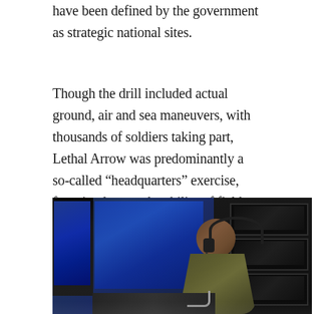have been defined by the government as strategic national sites.
Though the drill included actual ground, air and sea maneuvers, with thousands of soldiers taking part, Lethal Arrow was predominantly a so-called “headquarters” exercise, focusing less on the ability of field movements and more on developing the communication skills and work flows in the command centers overseeing the conflict.
[Figure (photo): A soldier wearing a headset sits at a command center workstation with multiple blue-lit computer screens in a dark room, viewed from behind.]